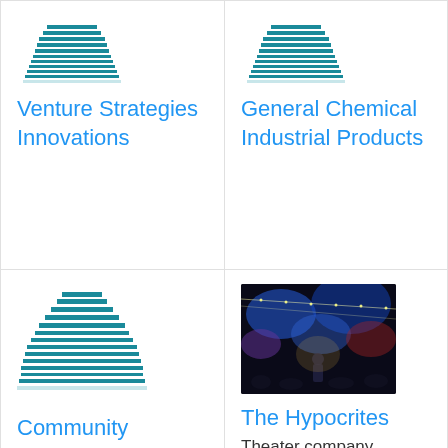[Figure (logo): Building/corporate icon for Venture Strategies Innovations]
Venture Strategies Innovations
[Figure (logo): Building/corporate icon for General Chemical Industrial Products]
General Chemical Industrial Products
[Figure (logo): Building/corporate icon for Community Consolidated School District 146]
Community Consolidated School District 146
[Figure (photo): Concert/theater performance photo with colorful stage lighting and audience]
The Hypocrites
Theater company
[Figure (logo): Building/corporate icon (bottom left, partial)]
[Figure (logo): Building/corporate icon (bottom right, partial)]